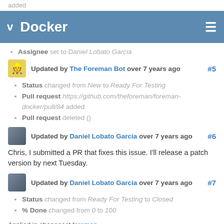added
Docker
Assignee set to Daniel Lobato Garcia
Updated by The Foreman Bot over 7 years ago #5
Status changed from New to Ready For Testing
Pull request https://github.com/theforeman/foreman-docker/pull/84 added
Pull request deleted ()
Updated by Daniel Lobato Garcia over 7 years ago #6
Chris, I submitted a PR that fixes this issue. I'll release a patch version by next Tuesday.
Updated by Daniel Lobato Garcia over 7 years ago #7
Status changed from Ready For Testing to Closed
% Done changed from 0 to 100
Applied in changeset foreman-docker|9f0918fc188718f1ecba9cb061e1ca1b94a5e634.